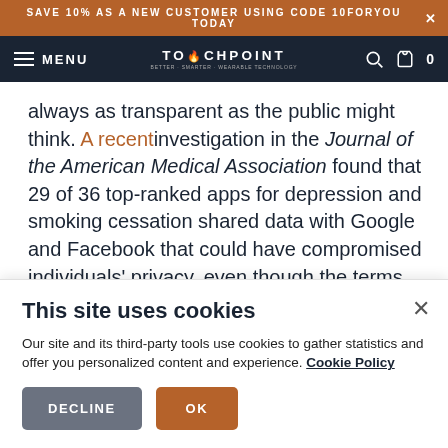SAVE 10% AS A NEW CUSTOMER USING CODE 10FORYOU TODAY ×
MENU TOUCHPOINT 0
always as transparent as the public might think. A recent investigation in the Journal of the American Medical Association found that 29 of 36 top-ranked apps for depression and smoking cessation shared data with Google and Facebook that could have compromised individuals' privacy, even though the terms and agreements of only
This site uses cookies
Our site and its third-party tools use cookies to gather statistics and offer you personalized content and experience. Cookie Policy
DECLINE   OK